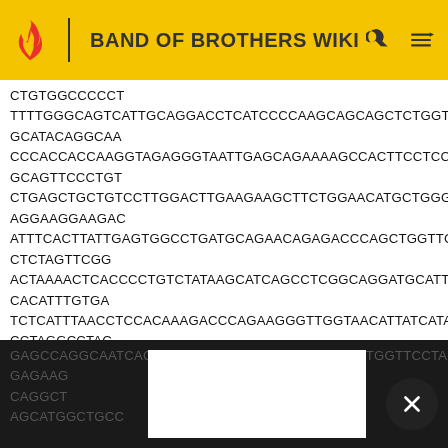BAND OF BROTHERS WIKI
CTGTGGCCCCCT
TTTTGGGCAGTCATTGCAGGACCTCATCCCCAAGCAGCAGCTCTGGTG
GCATACAGGCAA
CCCACCACCAAGGTAGAGGGTAATTGAGCAGAAAAGCCACTTCCTCCA
GCAGTTCCCTGT
CTGAGCTGCTGTCCTTGGACTTGAAGAAGCTTCTGGAACAT GCTGGGG
AGGAAGGAAGAC
ATTTCACTTATTGAGTGGCCTGATGCAGAACAGAGACCCAGCTGGTTCA
CTCTAGTTCGG
ACTAAAACTCACCCCTGTCTATAAGCATCAGCCTCGGCAGGATGCATTT
CACATTTGTGA
TCTCATTTAACCTCCACAAAGACCCAGAAGGGTTGGTAACATTATCATA
CCTAGGCCTAC
TATTTTAAAAATCTAACACC CATGCAGCCCGGGCACTGAAGTGGAGGCT
GGCCACGGAGA
GAGCCAGGCAATCACTGGCTTTTCCTTAGACAGAGAGCTGGTTCCTAC
GAGAAG...
CAGGCT...CATCC
AGCATGGCTGCC